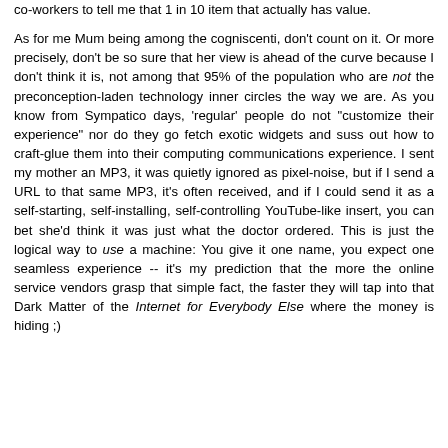co-workers to tell me that 1 in 10 item that actually has value.
As for me Mum being among the cogniscenti, don't count on it. Or more precisely, don't be so sure that her view is ahead of the curve because I don't think it is, not among that 95% of the population who are not the preconception-laden technology inner circles the way we are. As you know from Sympatico days, 'regular' people do not "customize their experience" nor do they go fetch exotic widgets and suss out how to craft-glue them into their computing communications experience. I sent my mother an MP3, it was quietly ignored as pixel-noise, but if I send a URL to that same MP3, it's often received, and if I could send it as a self-starting, self-installing, self-controlling YouTube-like insert, you can bet she'd think it was just what the doctor ordered. This is just the logical way to use a machine: You give it one name, you expect one seamless experience -- it's my prediction that the more the online service vendors grasp that simple fact, the faster they will tap into that Dark Matter of the Internet for Everybody Else where the money is hiding ;)